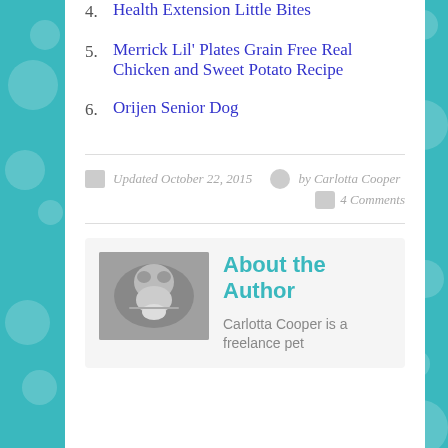4. Health Extension Little Bites
5. Merrick Lil' Plates Grain Free Real Chicken and Sweet Potato Recipe
6. Orijen Senior Dog
Updated October 22, 2015  by Carlotta Cooper  4 Comments
About the Author
Carlotta Cooper is a freelance pet